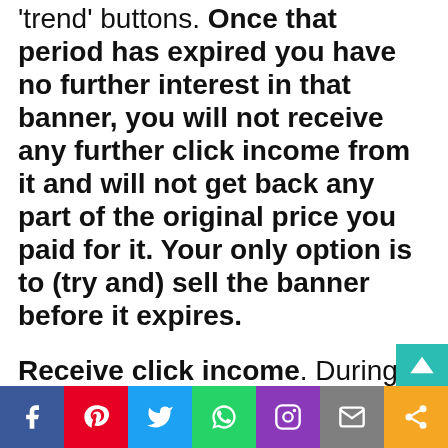'trend' buttons. Once that period has expired you have no further interest in that banner, you will not receive any further click income from it and will not get back any part of the original price you paid for it. Your only option is to (try and) sell the banner before it expires.
Receive click income. During the time you are registered as the owner of any given banner, you will
[Figure (infographic): Social media sharing bar with icons for Facebook, Pinterest, Twitter, WhatsApp, Instagram, Email, and Share]